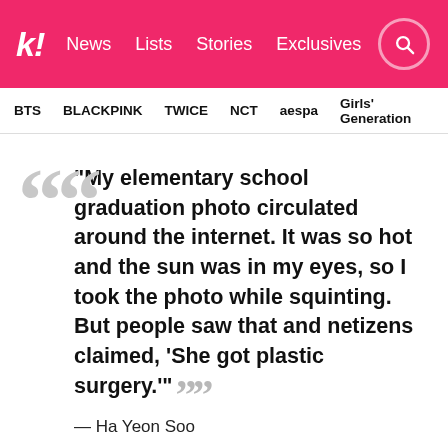k! News  Lists  Stories  Exclusives
BTS  BLACKPINK  TWICE  NCT  aespa  Girls' Generation
“My elementary school graduation photo circulated around the internet. It was so hot and the sun was in my eyes, so I took the photo while squinting. But people saw that and netizens claimed, ‘She got plastic surgery.’”
— Ha Yeon Soo